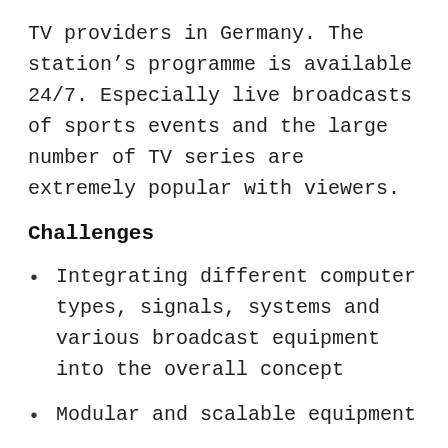TV providers in Germany. The station’s programme is available 24/7. Especially live broadcasts of sports events and the large number of TV series are extremely popular with viewers.
Challenges
Integrating different computer types, signals, systems and various broadcast equipment into the overall concept
Modular and scalable equipment